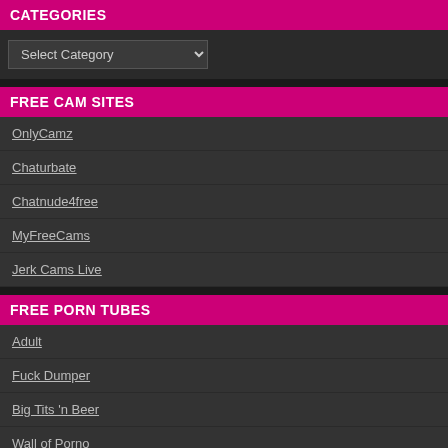CATEGORIES
Select Category (dropdown)
FREE CAM SITES
OnlyCamz
Chaturbate
Chatnude4free
MyFreeCams
Jerk Cams Live
FREE PORN TUBES
Adult
Fuck Dumper
Big Tits 'n Beer
Wall of Porno
RedTubePremium
ADVERTISMENT